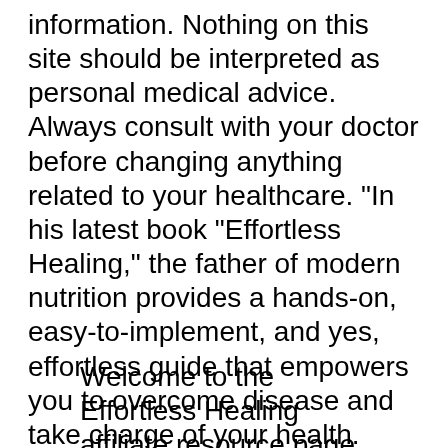information. Nothing on this site should be interpreted as personal medical advice. Always consult with your doctor before changing anything related to your healthcare. "In his latest book "Effortless Healing," the father of modern nutrition provides a hands-on, easy-to-implement, and yes, effortless guide that empowers you to overcome disease and take charge of your health. Whether you want to lose fat fast, turn back the clock, or simply eat more vegetables, this book provides a comprehensive arsenal of
Welcome to the Effortless Healing affiliate resource page. Effortless Healing is the